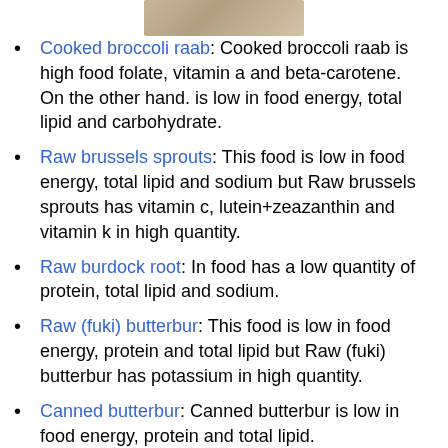[Figure (photo): Partial image of a food item at the top of the page]
Cooked broccoli raab: Cooked broccoli raab is high food folate, vitamin a and beta-carotene. On the other hand. is low in food energy, total lipid and carbohydrate.
Raw brussels sprouts: This food is low in food energy, total lipid and sodium but Raw brussels sprouts has vitamin c, lutein+zeazanthin and vitamin k in high quantity.
Raw burdock root: In food has a low quantity of protein, total lipid and sodium.
Raw (fuki) butterbur: This food is low in food energy, protein and total lipid but Raw (fuki) butterbur has potassium in high quantity.
Canned butterbur: Canned butterbur is low in food energy, protein and total lipid.
Raw cabbage: Raw cabbage is high vitamin k. On